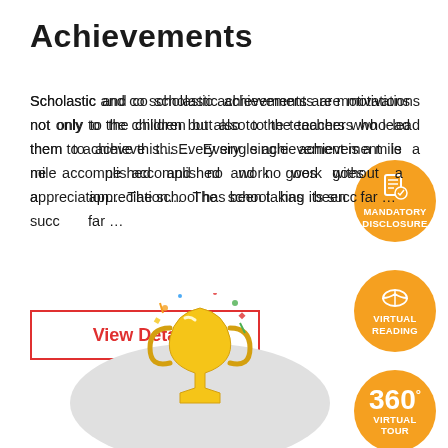Achievements
Scholastic and co scholastic achievements are motivations not only to the children but also to the teachers who lead them to achieve this... Every single achievement is a milestone accomplished and no work goes without a appreciation... The school has been taking its success very far ...
[Figure (other): Orange circle button with document/checkmark icon labeled MANDATORY DISCLOSURE]
[Figure (other): Orange circle button with open book icon labeled VIRTUAL READING]
[Figure (other): Orange circle button labeled 360 degrees VIRTUAL TOUR]
[Figure (illustration): Trophy with confetti on a grey circular background, partially visible at the bottom of the page]